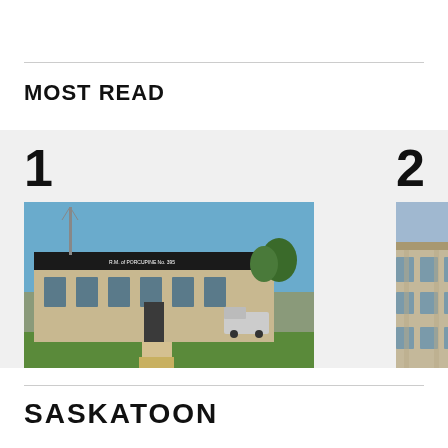MOST READ
[Figure (photo): Exterior photo of an RM (Rural Municipality) office building — a low, modern black-and-tan brick structure with windows, green lawn in front, blue sky, and a truck visible in the background.]
Sask. RM criticized for bylaw change suggesting landowners can shoot trespassing dogs
[Figure (photo): Partially visible photo of a large stone government or heritage building, cropped at right edge.]
SLGA requi owne
SASKATOON